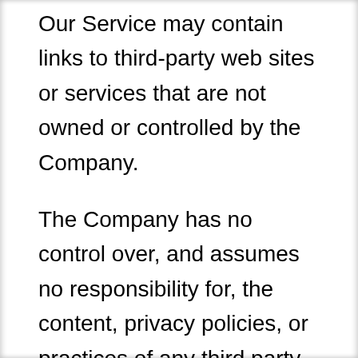Our Service may contain links to third-party web sites or services that are not owned or controlled by the Company.
The Company has no control over, and assumes no responsibility for, the content, privacy policies, or practices of any third party web sites or services. You further acknowledge and agree that the Company shall not be responsible or liable, directly or indirectly, for any damage or loss caused or alleged to be caused by or in connection with the use of or reliance on any such content, goods or services available on or through any such web